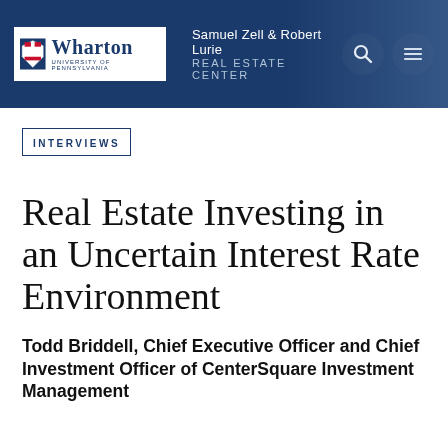[Figure (logo): Wharton Samuel Zell & Robert Lurie Real Estate Center header banner with logo, icons]
INTERVIEWS
Real Estate Investing in an Uncertain Interest Rate Environment
Todd Briddell, Chief Executive Officer and Chief Investment Officer of CenterSquare Investment Management